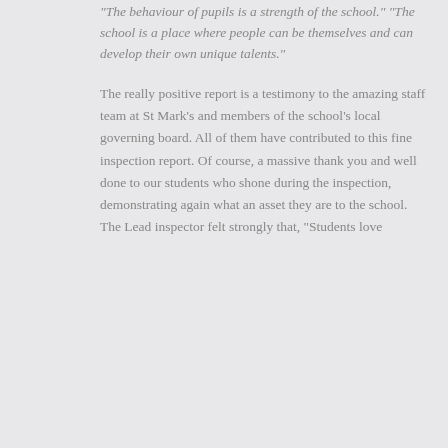"The behaviour of pupils is a strength of the school." "The school is a place where people can be themselves and can develop their own unique talents."
The really positive report is a testimony to the amazing staff team at St Mark's and members of the school's local governing board. All of them have contributed to this fine inspection report. Of course, a massive thank you and well done to our students who shone during the inspection, demonstrating again what an asset they are to the school. The Lead inspector felt strongly that, "Students love